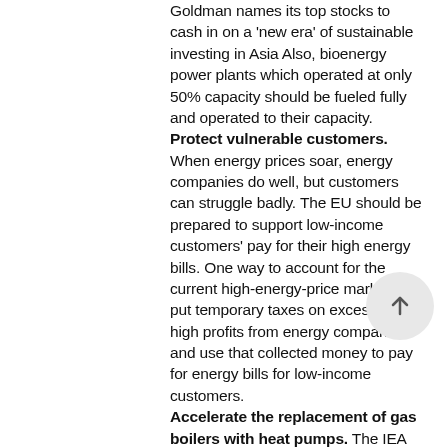Goldman names its top stocks to cash in on a 'new era' of sustainable investing in Asia Also, bioenergy power plants which operated at only 50% capacity should be fueled fully and operated to their capacity.
Protect vulnerable customers. When energy prices soar, energy companies do well, but customers can struggle badly. The EU should be prepared to support low-income customers' pay for their high energy bills. One way to account for the current high-energy-price market is to put temporary taxes on excessively high profits from energy companies and use that collected money to pay for energy bills for low-income customers.
Accelerate the replacement of gas boilers with heat pumps. The IEA calls for the EU to accelerate its rate of replacing gas furnaces...